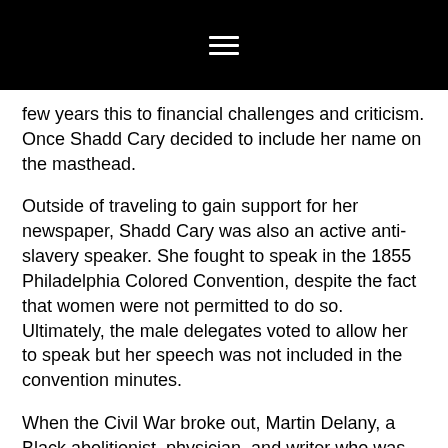≡
few years this to financial challenges and criticism. Once Shadd Cary decided to include her name on the masthead.
Outside of traveling to gain support for her newspaper, Shadd Cary was also an active anti-slavery speaker. She fought to speak in the 1855 Philadelphia Colored Convention, despite the fact that women were not permitted to do so. Ultimately, the male delegates voted to allow her to speak but her speech was not included in the convention minutes.
When the Civil War broke out, Martin Delany, a Black abolitionist, physician, and writer who was also the first African American to become a field officer in the United States Army, invited Shadd Cary to recruit Black soldiers to the Union Army in Indiana. Once the war was over, she